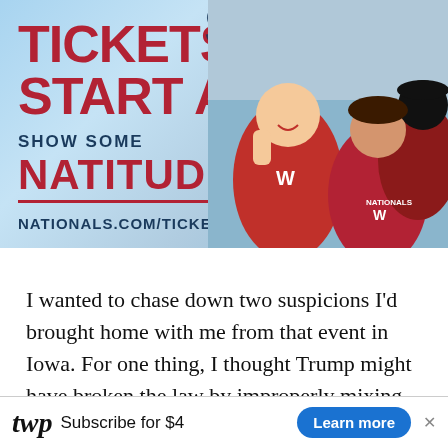[Figure (photo): Washington Nationals baseball advertisement banner. Left side has dark blue text 'TICKETS START AT' in large bold red letters with '$9' in large dark blue numerals. Below reads 'SHOW SOME' in dark blue and 'NATITUDE' in bold red with a red underline and Nationals logo. URL 'NATIONALS.COM/TICKETS' below. Right side shows fans in red Nationals gear cheering.]
I wanted to chase down two suspicions I’d brought home with me from that event in Iowa. For one thing, I thought Trump might have broken the law by improperly mixing
[Figure (other): Washington Post subscription advertisement bar at bottom: WP logo, 'Subscribe for $4', 'Learn more' blue button, X close button.]